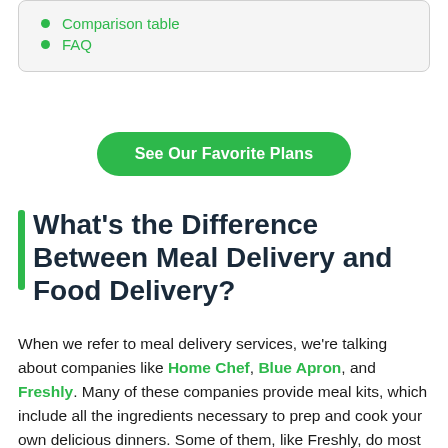Comparison table
FAQ
See Our Favorite Plans
What's the Difference Between Meal Delivery and Food Delivery?
When we refer to meal delivery services, we're talking about companies like Home Chef, Blue Apron, and Freshly. Many of these companies provide meal kits, which include all the ingredients necessary to prep and cook your own delicious dinners. Some of them, like Freshly, do most of the work for you, providing prepared meals that can simply be reheated in the microwave or oven.